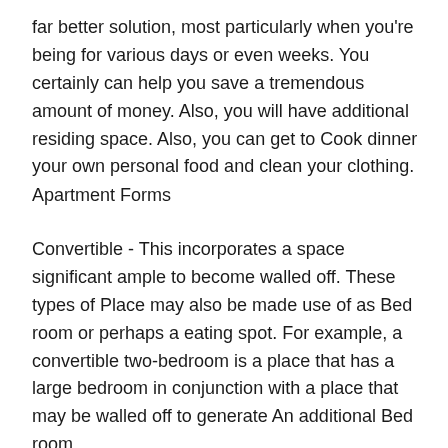far better solution, most particularly when you're being for various days or even weeks. You certainly can help you save a tremendous amount of money. Also, you will have additional residing space. Also, you can get to Cook dinner your own personal food and clean your clothing.
Apartment Forms
Convertible - This incorporates a space significant ample to become walled off. These types of Place may also be made use of as Bed room or perhaps a eating spot. For example, a convertible two-bedroom is a place that has a large bedroom in conjunction with a place that may be walled off to generate An additional Bed room.